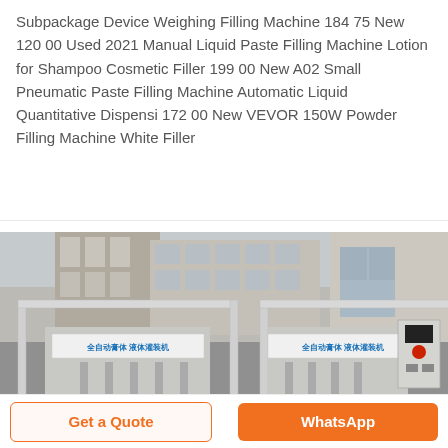Subpackage Device Weighing Filling Machine 184 75 New 120 00 Used 2021 Manual Liquid Paste Filling Machine Lotion for Shampoo Cosmetic Filler 199 00 New A02 Small Pneumatic Paste Filling Machine Automatic Liquid Quantitative Dispensi 172 00 New VEVOR 150W Powder Filling Machine White Filler
[Figure (photo): Outdoor photo of two automatic paste/liquid filling machines (全自动膏体液体灌装机) with Chinese text labels on white boards, situated in front of industrial buildings. A control panel box is visible on the right side.]
Get a Quote
WhatsApp